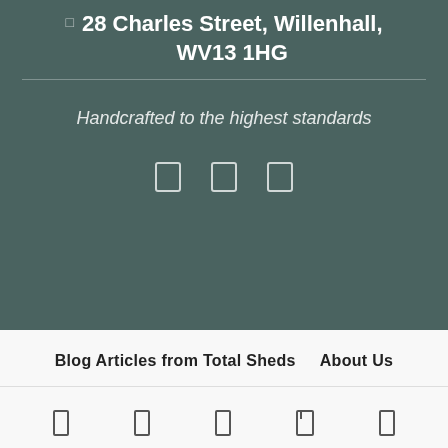28 Charles Street, Willenhall, WV13 1HG
Handcrafted to the highest standards
[Figure (other): Three social media icon buttons (Facebook, Twitter, Instagram) displayed as outlined squares]
Blog Articles from Total Sheds   About Us
[Figure (other): Five navigation icon buttons in a row at the bottom of the page]